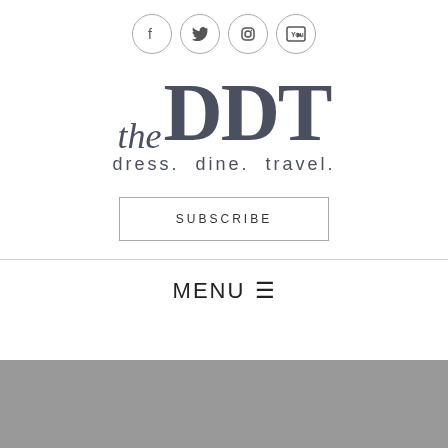[Figure (logo): Social media icons row: Facebook, Twitter, Instagram, YouTube — each in a light circle outline]
[Figure (logo): The DDT blog logo — 'the' in italic serif script, 'DDT' in large bold serif, tagline 'dress. dine. travel.' below]
SUBSCRIBE
MENU ☰
[Figure (other): Gray rectangular block at page bottom]